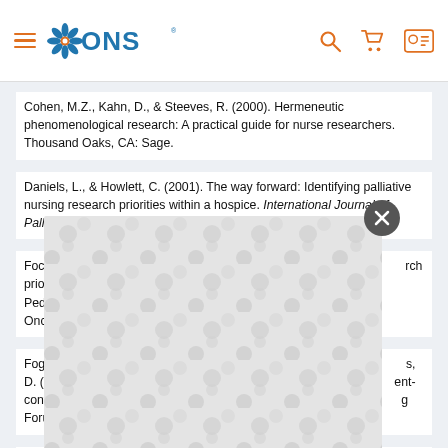ONS website header with logo, search, cart, and profile icons
Cohen, M.Z., Kahn, D., & Steeves, R. (2000). Hermeneutic phenomenological research: A practical guide for nurse researchers. Thousand Oaks, CA: Sage.
Daniels, L., & Howlett, C. (2001). The way forward: Identifying palliative nursing research priorities within a hospice. International Journal of Palliative Nursing, 7, 442-448.
Foch... [partially obscured] ...ch priorities... Pediatric... Oncology...
Foga... [partially obscured] ...s, D. (2... [partially obscured] ...ent-cont... [partially obscured] ...g Foru...
Fren... [partially obscured] ...evid... Nurs...
[Figure (other): Modal dialog overlay with decorative pattern (repeating teardrop/blob shapes in light gray on white background) and a dark circular close button with X in the top-right corner]